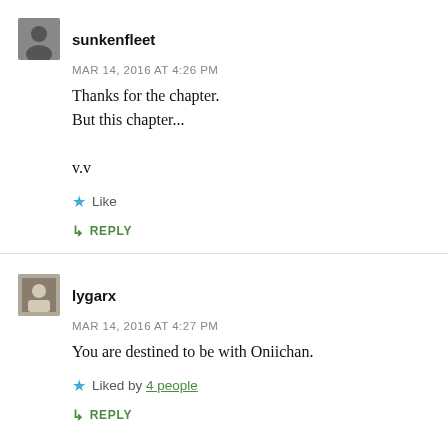sunkenfleet
MAR 14, 2016 AT 4:26 PM
Thanks for the chapter.
But this chapter...

v.v
Like
REPLY
lygarx
MAR 14, 2016 AT 4:27 PM
You are destined to be with Oniichan.
Liked by 4 people
REPLY